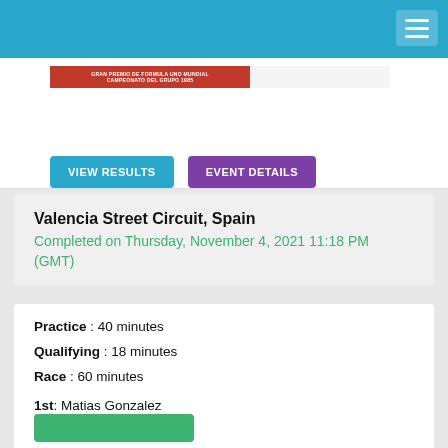VIEW RESULTS  EVENT DETAILS
Valencia Street Circuit, Spain
Completed on Thursday, November 4, 2021 11:18 PM (GMT)
Practice : 40 minutes
Qualifying : 18 minutes
Race : 60 minutes
1st: Matias Gonzalez
2nd: Victor Muñoz
3rd: J.L.Sausa